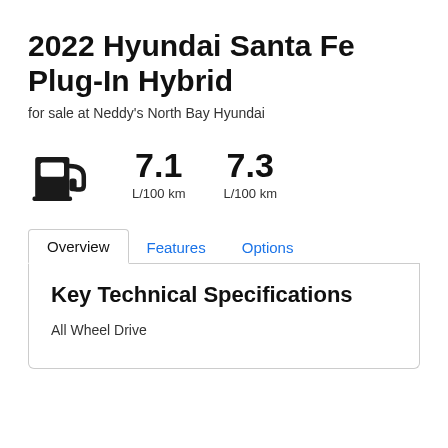2022 Hyundai Santa Fe Plug-In Hybrid
for sale at Neddy's North Bay Hyundai
[Figure (infographic): Fuel pump icon with two fuel efficiency stats: 7.1 L/100 km and 7.3 L/100 km]
Overview | Features | Options
Key Technical Specifications
All Wheel Drive